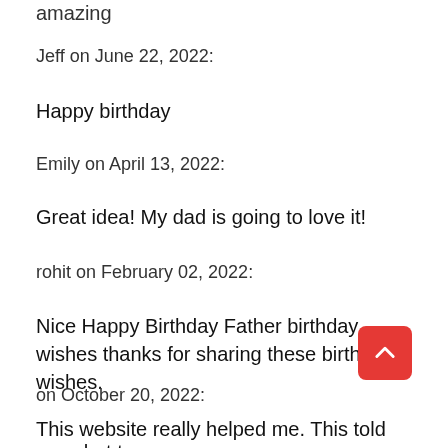amazing
Jeff on June 22, 2022:
Happy birthday
Emily on April 13, 2022:
Great idea! My dad is going to love it!
rohit on February 02, 2022:
Nice Happy Birthday Father birthday wishes thanks for sharing these birthday wishes.
on October 20, 2022:
This website really helped me. This told me what to